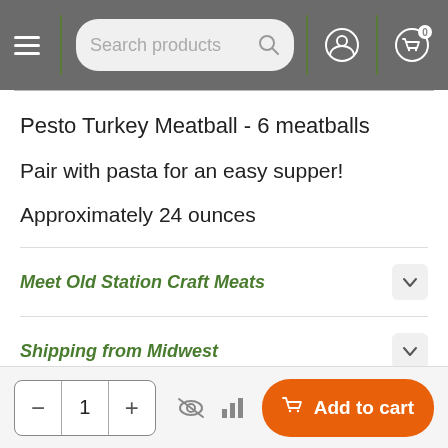Search products
Pesto Turkey Meatball - 6 meatballs
Pair with pasta for an easy supper!
Approximately 24 ounces
Meet Old Station Craft Meats
Shipping from Midwest
- 1 + Add to cart